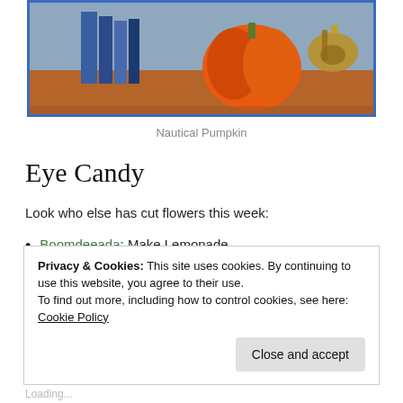[Figure (photo): Photo of a nautical pumpkin display with books and a brass compass/sextant on a wooden surface, framed with a blue border.]
Nautical Pumpkin
Eye Candy
Look who else has cut flowers this week:
Boomdeeada: Make Lemonade
Mini Manor Blog: Fall Dinner Party
Tea on the Terrace: Autumn Garden Bouquet
Privacy & Cookies: This site uses cookies. By continuing to use this website, you agree to their use.
To find out more, including how to control cookies, see here: Cookie Policy
Close and accept
Loading...